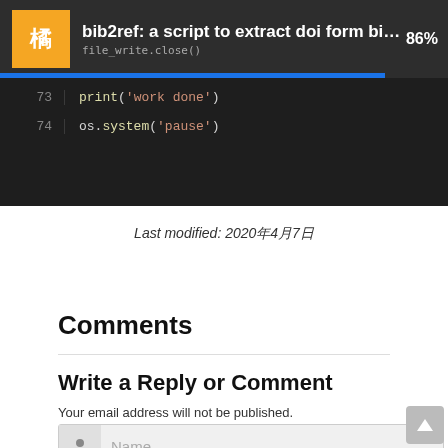bib2ref: a script to extract doi form bibtex fil... 86%
[Figure (screenshot): Code editor screenshot showing lines 73 and 74 of a Python script: line 73: print('work done'), line 74: os.system('pause')]
Last modified: 2020年4月7日
Comments
Write a Reply or Comment
Your email address will not be published.
Name